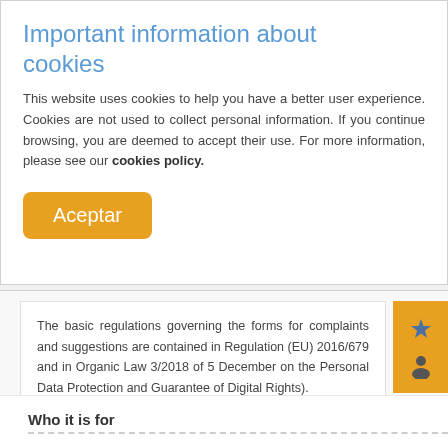Important information about cookies
This website uses cookies to help you have a better user experience. Cookies are not used to collect personal information. If you continue browsing, you are deemed to accept their use. For more information, please see our cookies policy.
Aceptar
The basic regulations governing the forms for complaints and suggestions are contained in Regulation (EU) 2016/679 and in Organic Law 3/2018 of 5 December on the Personal Data Protection and Guarantee of Digital Rights).
Who it is for